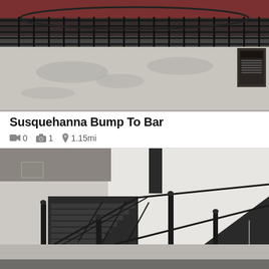[Figure (photo): Outdoor photo showing a metal fence/railing with a red brick building behind it, concrete ground with tree shadows, and a metal trash/utility box on the right side.]
Susquehanna Bump To Bar
0   1   1.15mi
[Figure (photo): Outdoor photo showing a metal staircase with railings and a dark ramp/skate feature against a white concrete wall, with black bollard poles in the foreground and asphalt surface.]